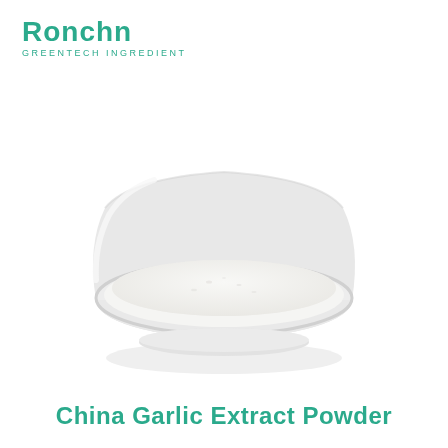[Figure (logo): Ronchn GreenTech Ingredient company logo in teal/green color]
[Figure (photo): A white ceramic shallow bowl filled with white garlic extract powder, photographed on a white background]
China Garlic Extract Powder